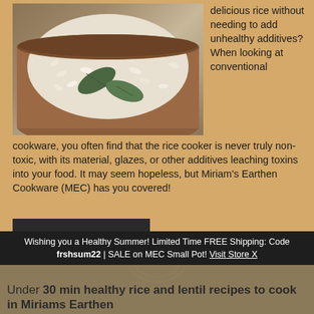[Figure (photo): A clay/earthen pot filled with white rice and bay leaves on a light background]
delicious rice without needing to add unhealthy additives? When looking at conventional cookware, you often find that the rice cooker is never truly non-toxic, with its material, glazes, or other additives leaching toxins into your food. It may seem hopeless, but Miriam's Earthen Cookware (MEC) has you covered!
READ MORE
Wishing you a Healthy Summer! Limited Time FREE Shipping: Code frshsum22 | SALE on MEC Small Pot! Visit Store X
Under 30 min healthy rice and lentil recipes to cook in Miriams Earthen